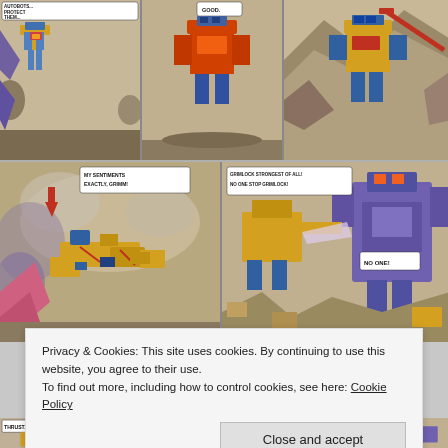[Figure (illustration): Comic book page showing Transformers robots. Top row: three panels depicting robots including one with speech bubbles 'AUTOBOTS... PROTECT THEM...' and 'GOOD.' — yellow and blue robot figures in action scenes. Bottom row: two larger panels, left panel with speech bubble 'MY SENTIMENTS EXACTLY, GRIMM!' showing yellow robots amid explosion/smoke, right panel with 'GRIMLOCK STRONGEST OF ALL! NO ONE STOP GRIMLOCK!' and 'NO ONE!' showing robots in combat.]
Privacy & Cookies: This site uses cookies. By continuing to use this website, you agree to their use.
To find out more, including how to control cookies, see here: Cookie Policy
Close and accept
[Figure (illustration): Partial bottom strip of comic panels showing 'THRUST...' and other partially visible Transformers comic panels.]